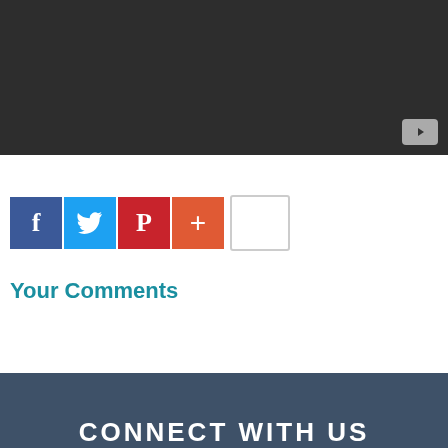[Figure (screenshot): Dark video player thumbnail area with YouTube play button in bottom right corner]
[Figure (infographic): Social share buttons: Facebook (blue), Twitter (light blue), Pinterest (red), Plus/More (orange-red), and an empty count box]
Your Comments
CONNECT WITH US